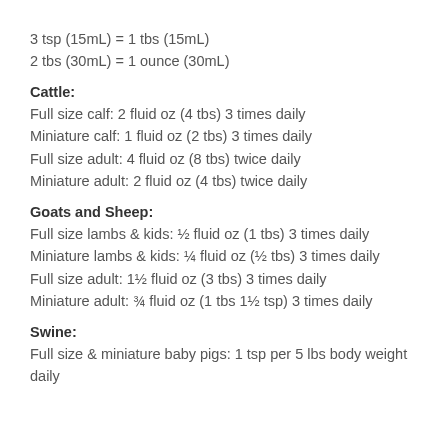3 tsp (15mL) = 1 tbs (15mL)
2 tbs (30mL) = 1 ounce (30mL)
Cattle:
Full size calf: 2 fluid oz (4 tbs) 3 times daily
Miniature calf: 1 fluid oz (2 tbs) 3 times daily
Full size adult: 4 fluid oz (8 tbs) twice daily
Miniature adult: 2 fluid oz (4 tbs) twice daily
Goats and Sheep:
Full size lambs & kids: ½ fluid oz (1 tbs) 3 times daily
Miniature lambs & kids: ¼ fluid oz (½ tbs) 3 times daily
Full size adult: 1½ fluid oz (3 tbs) 3 times daily
Miniature adult: ¾ fluid oz (1 tbs 1½ tsp) 3 times daily
Swine:
Full size & miniature baby pigs: 1 tsp per 5 lbs body weight daily